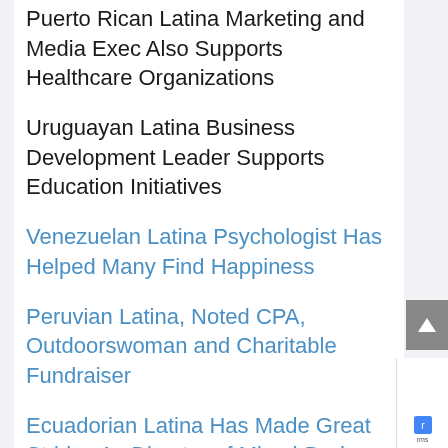Puerto Rican Latina Marketing and Media Exec Also Supports Healthcare Organizations
Uruguayan Latina Business Development Leader Supports Education Initiatives
Venezuelan Latina Psychologist Has Helped Many Find Happiness
Peruvian Latina, Noted CPA, Outdoorswoman and Charitable Fundraiser
Ecuadorian Latina Has Made Great Strides As Director of Miami-Dade County's Parks
Colombian Latina Nutritionist Small Business Owner Helps Women  Be Their Healthy Best